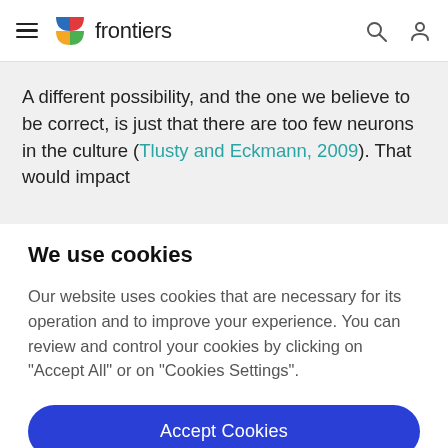frontiers
A different possibility, and the one we believe to be correct, is just that there are too few neurons in the culture (Tlusty and Eckmann, 2009). That would impact
We use cookies
Our website uses cookies that are necessary for its operation and to improve your experience. You can review and control your cookies by clicking on "Accept All" or on "Cookies Settings".
Accept Cookies
Cookies Settings